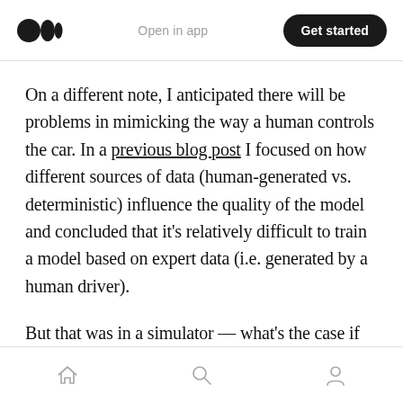Open in app | Get started
On a different note, I anticipated there will be problems in mimicking the way a human controls the car. In a previous blog post I focused on how different sources of data (human-generated vs. deterministic) influence the quality of the model and concluded that it's relatively difficult to train a model based on expert data (i.e. generated by a human driver).
But that was in a simulator — what's the case if we're operating in reality?
Home | Search | Profile